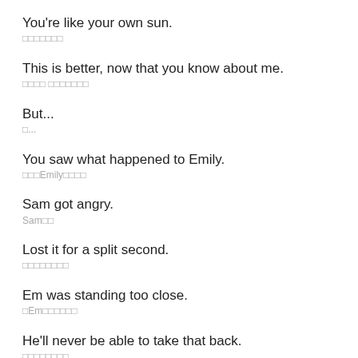You're like your own sun.
□□□□□□□
This is better, now that you know about me.
□□□□ □□□□□□□
But...
□...
You saw what happened to Emily.
□□□Emily□□□□
Sam got angry.
Sam□□
Lost it for a split second.
□□□□□□□□
Em was standing too close.
□Em□□□□□□
He'll never be able to take that back.
□□□□□□□□
What if I got mad at you?